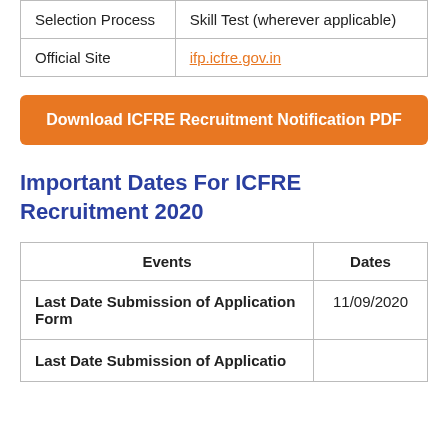|  |  |
| --- | --- |
| Selection Process | Skill Test (wherever applicable) |
| Official Site | ifp.icfre.gov.in |
Download ICFRE Recruitment Notification PDF
Important Dates For ICFRE Recruitment 2020
| Events | Dates |
| --- | --- |
| Last Date Submission of Application Form | 11/09/2020 |
| Last Date Submission of Applicatio |  |